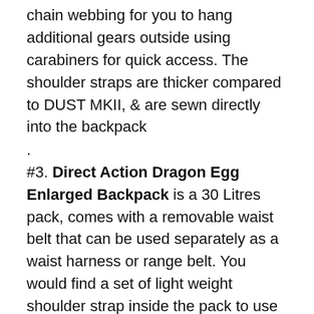chain webbing for you to hang additional gears outside using carabiners for quick access. The shoulder straps are thicker compared to DUST MKII, & are sewn directly into the backpack
.
#3. Direct Action Dragon Egg Enlarged Backpack is a 30 Litres pack, comes with a removable waist belt that can be used separately as a waist harness or range belt. You would find a set of light weight shoulder strap inside the pack to use with this removable waist strap separately. This model is Direct Action Latest Backpack. Nice size for a 3 days staycation pack!!
.
#4. Direct Action GHOST MKII Is a 30 Litres Backpack, comes with a front detachable Organizer Pocket which can be used separately as a shoulder